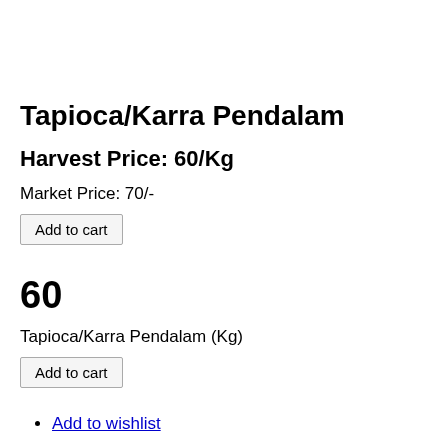Tapioca/Karra Pendalam
Harvest Price: 60/Kg
Market Price: 70/-
Add to cart
60
Tapioca/Karra Pendalam (Kg)
Add to cart
Add to wishlist